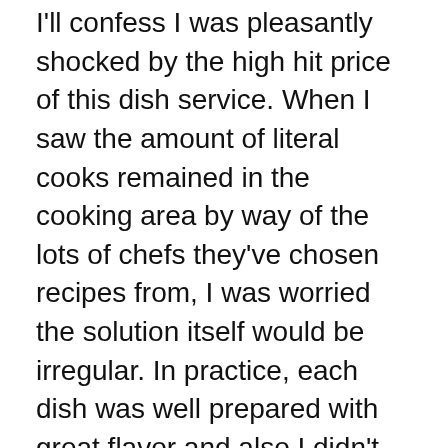I'll confess I was pleasantly shocked by the high hit price of this dish service. When I saw the amount of literal cooks remained in the cooking area by way of the lots of chefs they've chosen recipes from, I was worried the solution itself would be irregular. In practice, each dish was well prepared with great flavor and also I didn't experience a solitary genuine loser. The cod was the only dish I would certainly desired had been a larger portion yet general each lunch or supper was pleasing.
The most exciting aspect of CookUnity is the large quantity of dish alternatives you can choose from, all originating from chefs of different histories, cooking styles as well as degrees of fame. As a bona fide restaurant